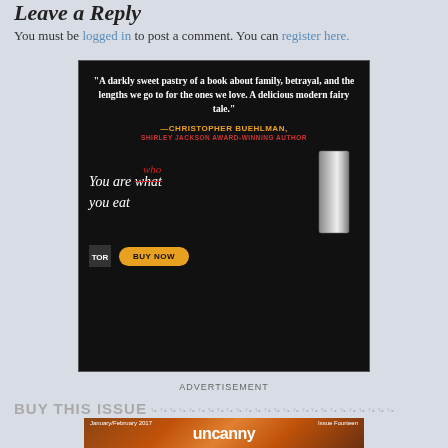Leave a Reply
You must be logged in to post a comment. You can register here.
[Figure (illustration): Book advertisement on black background. Quote: 'A darkly sweet pastry of a book about family, betrayal, and the lengths we go to for the ones we love. A delicious modern fairy tale.' —CHRISTOPHER BUEHLMAN, SHIRLEY JACKSON AWARD-WINNING AUTHOR. Text: 'You are who you eat' (what crossed out, who written above). TOR logo and BUY NOW button.]
ADVERTISEMENT
BUY THIS ISSUE
[Figure (photo): Magazine cover: Uncanny Magazine January/February 2017, Issue Fourteen]